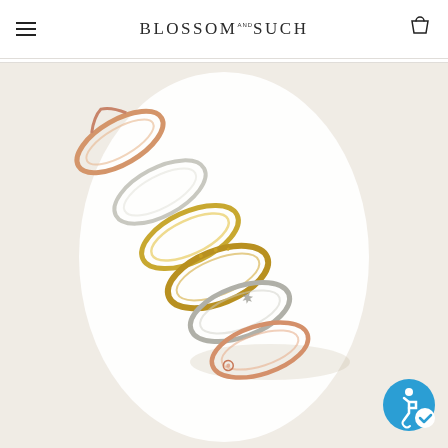BLOSSOM and SUCH
[Figure (photo): Multiple stacked rings displayed on a white oval background on a beige/cream surface. The rings are shown in various gold and silver tones with decorative details, arranged diagonally showing the collection of stackable rings.]
[Figure (logo): Accessibility icon badge in blue circle with checkmark, bottom right corner]